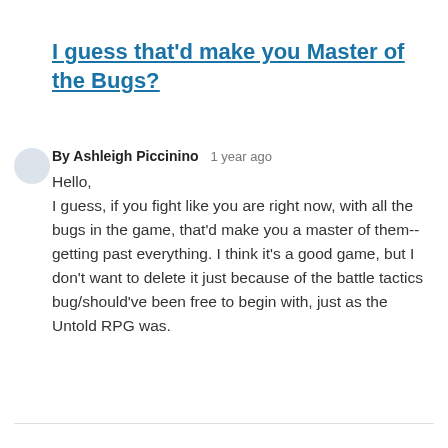I guess that'd make you Master of the Bugs?
By Ashleigh Piccinino   1 year ago
Hello,
I guess, if you fight like you are right now, with all the bugs in the game, that'd make you a master of them--getting past everything. I think it's a good game, but I don't want to delete it just because of the battle tactics bug/should've been free to begin with, just as the Untold RPG was.